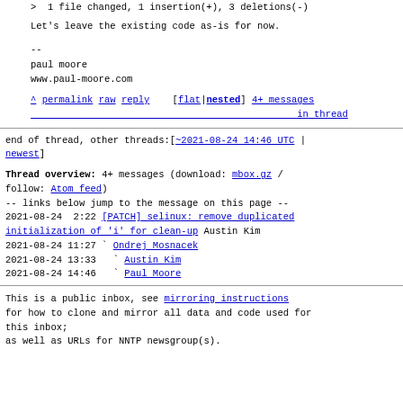>  1 file changed, 1 insertion(+), 3 deletions(-)
Let's leave the existing code as-is for now.
--
paul moore
www.paul-moore.com
^ permalink raw reply  [flat|nested] 4+ messages in thread
end of thread, other threads:[~2021-08-24 14:46 UTC | newest]
Thread overview: 4+ messages (download: mbox.gz / follow: Atom feed)
-- links below jump to the message on this page --
2021-08-24  2:22 [PATCH] selinux: remove duplicated initialization of 'i' for clean-up Austin Kim
2021-08-24 11:27 ` Ondrej Mosnacek
2021-08-24 13:33   ` Austin Kim
2021-08-24 14:46     ` Paul Moore
This is a public inbox, see mirroring instructions
for how to clone and mirror all data and code used for this inbox;
as well as URLs for NNTP newsgroup(s).